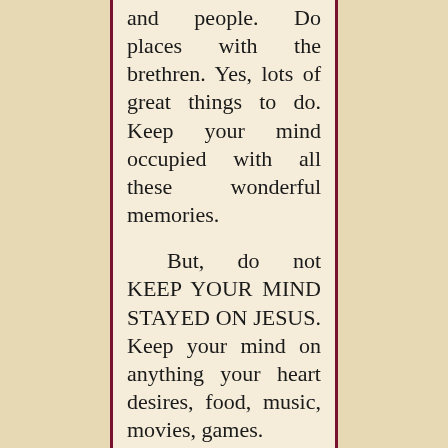and people. Do places with the brethren. Yes, lots of great things to do. Keep your mind occupied with all these wonderful memories.

But, do not KEEP YOUR MIND STAYED ON JESUS. Keep your mind on anything your heart desires, food, music, movies, games.
	But don't get totally alone, by yourself, away